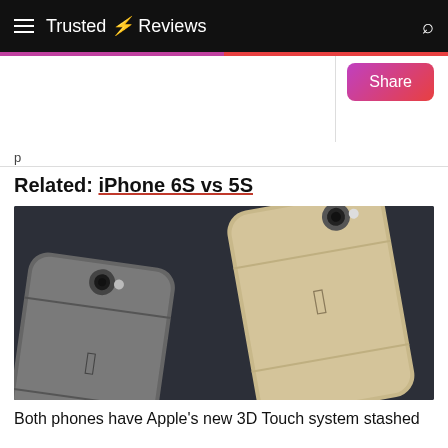Trusted Reviews
p
Related: iPhone 6S vs 5S
[Figure (photo): Two iPhones photographed from the back on a dark background — a space grey iPhone in the foreground and a gold/champagne iPhone behind it, both showing Apple logos.]
Both phones have Apple's new 3D Touch system stashed